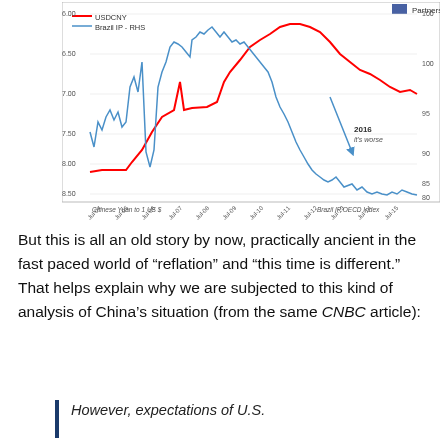[Figure (continuous-plot): Dual-axis line chart showing USDCNY (red line, left axis 6.00–8.50 inverted) and Brazil IP OECD Index (blue line, right axis 80–100) from Jul-04 to Jul-15. The red line shows CNY depreciating from ~8.28 to a trough then appreciating to ~6.05 before depreciating again to ~6.50. The blue line shows Brazil IP rising to ~100 then falling sharply to ~80 by 2015–2016. A blue arrow annotation points down labeled '2016 it's worse'.]
But this is all an old story by now, practically ancient in the fast paced world of "reflation" and "this time is different." That helps explain why we are subjected to this kind of analysis of China's situation (from the same CNBC article):
However, expectations of U.S.